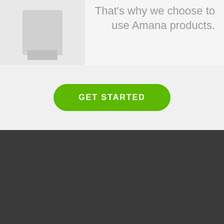[Figure (photo): Appliance or device image, light gray placeholder]
That's why we choose to use Amana products.
GET STARTED
““
Had to have the AC fixed late at night. Everest Air arrived